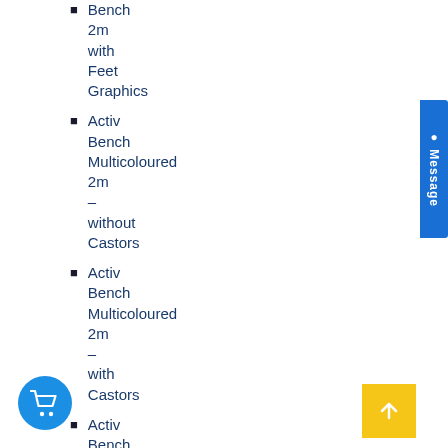Bench 2m with Feet Graphics
Activ Bench Multicoloured 2m – without Castors
Activ Bench Multicoloured 2m – with Castors
Activ Bench Multicoloured 2.5m – with Castors
Activ